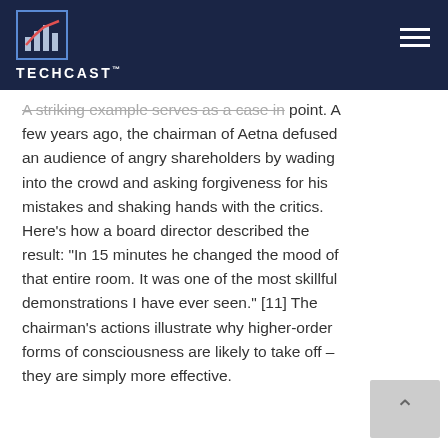[Figure (logo): TechCast logo with bar chart and rising line icon, white text on dark navy background header bar with hamburger menu icon]
A striking example serves as a case in point. A few years ago, the chairman of Aetna defused an audience of angry shareholders by wading into the crowd and asking forgiveness for his mistakes and shaking hands with the critics. Here’s how a board director described the result: “In 15 minutes he changed the mood of that entire room. It was one of the most skillful demonstrations I have ever seen.” [11] The chairman’s actions illustrate why higher-order forms of consciousness are likely to take off – they are simply more effective.